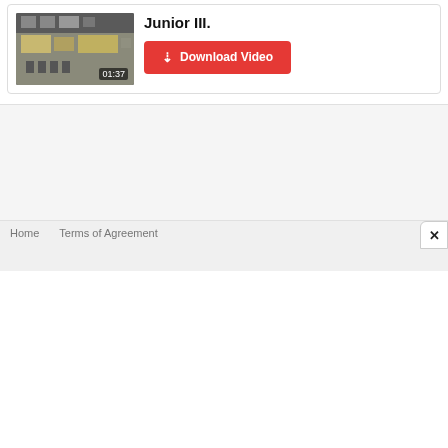[Figure (screenshot): Video thumbnail showing mechanical/engine components with timestamp 01:37]
Junior III.
Download Video
Home     Terms of Agreement